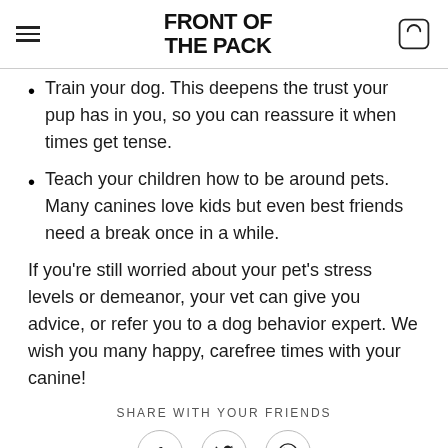FRONT OF THE PACK
Train your dog. This deepens the trust your pup has in you, so you can reassure it when times get tense.
Teach your children how to be around pets. Many canines love kids but even best friends need a break once in a while.
If you're still worried about your pet's stress levels or demeanor, your vet can give you advice, or refer you to a dog behavior expert. We wish you many happy, carefree times with your canine!
SHARE WITH YOUR FRIENDS
[Figure (illustration): Social sharing icons: Facebook (f), Twitter (bird), WhatsApp (phone in circle), each in circular outlines]